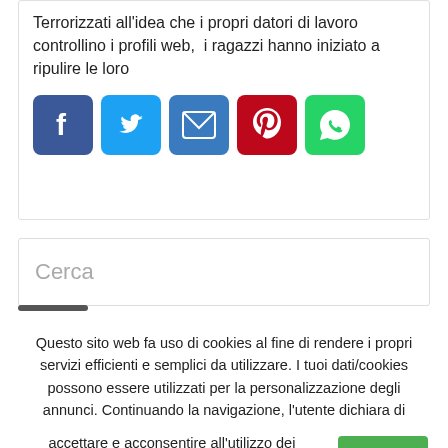Terrorizzati all'idea che i propri datori di lavoro controllino i profili web,  i ragazzi hanno iniziato a ripulire le loro
[Figure (infographic): Row of five social share icon buttons: Facebook (blue), Twitter (light blue), Email (blue envelope), Pinterest (red), WhatsApp (green)]
Cerca
Questo sito web fa uso di cookies al fine di rendere i propri servizi efficienti e semplici da utilizzare. I tuoi dati/cookies possono essere utilizzati per la personalizzazione degli annunci. Continuando la navigazione, l'utente dichiara di accettare e acconsentire all'utilizzo dei cookies.
Accetta
Privacy e Cookies Policy